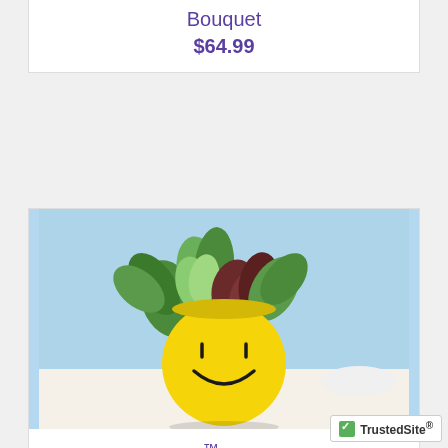Bouquet
$64.99
[Figure (photo): A yellow smiley face ceramic pot filled with assorted green and dark red foliage plants against a light blue background.]
Good Day™ Dish Garden
$64.99
[Figure (logo): TrustedSite badge with green checkmark]